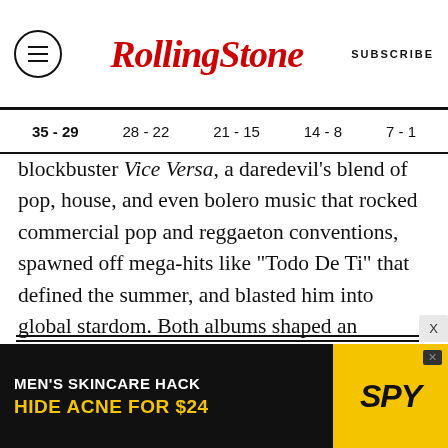Rolling Stone — SUBSCRIBE
35 - 29  28 - 22  21 - 15  14 - 8  7 - 1
blockbuster Vice Versa, a daredevil's blend of pop, house, and even bolero music that rocked commercial pop and reggaeton conventions, spawned off mega-hits like “Todo De Ti” that defined the summer, and blasted him into global stardom. Both albums shaped an adventurous year that left us hopeful for more music with a vision.
[Figure (other): Advertisement banner for SPY: MEN'S SKINCARE HACK - HIDE ACNE FOR $24]